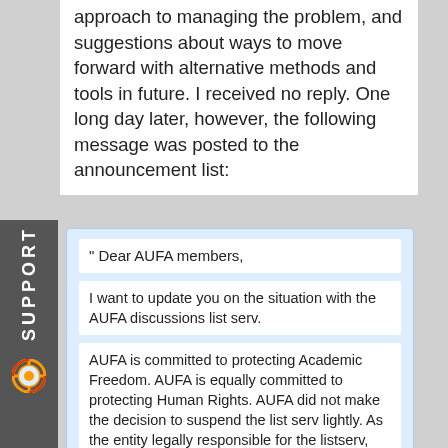approach to managing the problem, and suggestions about ways to move forward with alternative methods and tools in future. I received no reply. One long day later, however, the following message was posted to the announcement list:
" Dear AUFA members,

I want to update you on the situation with the AUFA discussions list serv.

AUFA is committed to protecting Academic Freedom. AUFA is equally committed to protecting Human Rights. AUFA did not make the decision to suspend the list serv lightly. As the entity legally responsible for the listserv, AUFA has an obligation to ensure the safety of its members.

The AUFA executive had a